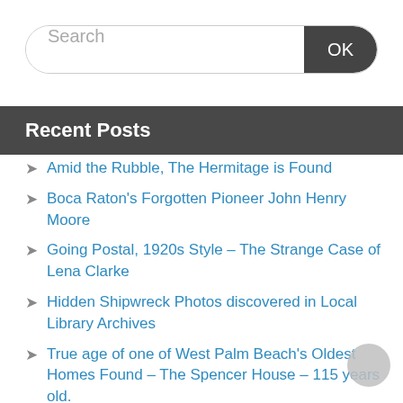[Figure (screenshot): Search bar with text input field and OK button]
Recent Posts
Amid the Rubble, The Hermitage is Found
Boca Raton's Forgotten Pioneer John Henry Moore
Going Postal, 1920s Style – The Strange Case of Lena Clarke
Hidden Shipwreck Photos discovered in Local Library Archives
True age of one of West Palm Beach's Oldest Homes Found – The Spencer House – 115 years old.